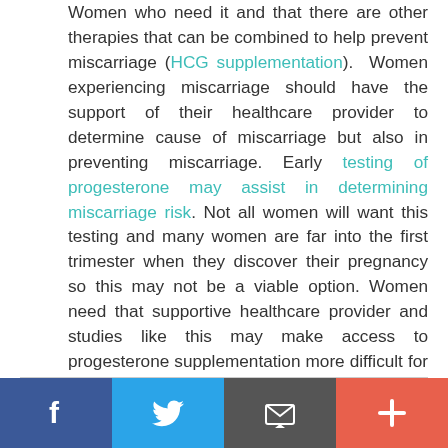Women who need it and that there are other therapies that can be combined to help prevent miscarriage (HCG supplementation). Women experiencing miscarriage should have the support of their healthcare provider to determine cause of miscarriage but also in preventing miscarriage. Early testing of progesterone may assist in determining miscarriage risk. Not all women will want this testing and many women are far into the first trimester when they discover their pregnancy so this may not be a viable option. Women need that supportive healthcare provider and studies like this may make access to progesterone supplementation more difficult for women, leading to unnecessary miscarriages and further heartache.
Social sharing bar: Facebook, Twitter, Email, Plus